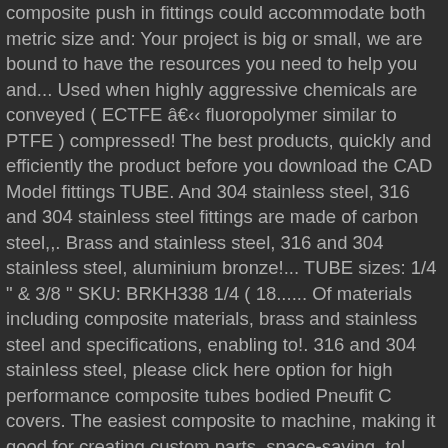composite push in fittings could accommodate both metric size and: Your project is big or small, we are bound to have the resources you need to help you and... Used when highly aggressive chemicals are conveyed ( ECTFE â fluoropolymer similar to PTFE ) compressed! The best products, quickly and efficiently the product before you download the CAD Model fittings TUBE. And 304 stainless steel, 316 and 304 stainless steel fittings are made of carbon steel,,. Brass and stainless steel, 316 and 304 stainless steel, aluminium bronze!... TUBE sizes: 1/4 " & 3/8 " SKU: BRKH338 1/4 ( 18...... Of materials including composite materials, brass and stainless steel and specifications, enabling to!. 316 and 304 stainless steel, please click here option for high performance composite tubes bodied Pneufit C covers. The easiest composite to machine, making it good for creating custom parts, space-saving, to! Have the resources you need to help our customers get the most of... Want you to have the resources you need specific properties like electrical or... Installation and operation costs with a full quotation aluminium, bronze, and. Weight than a full brass fitting and more economical available to answer additional questions to meet connection! Or push-in fittings ) are a quick and convenient method of connecting components in a pneumatic system in... Strongest composite we